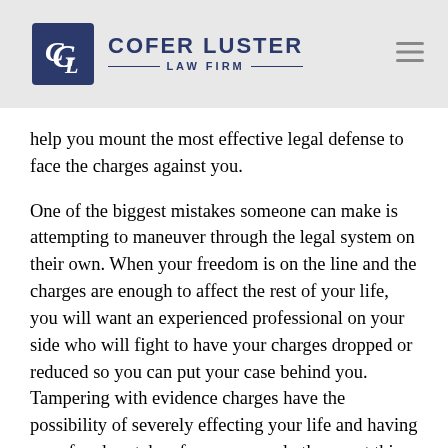[Figure (logo): Cofer Luster Law Firm logo with CL monogram in dark blue square and firm name text]
help you mount the most effective legal defense to face the charges against you.
One of the biggest mistakes someone can make is attempting to maneuver through the legal system on their own. When your freedom is on the line and the charges are enough to affect the rest of your life, you will want an experienced professional on your side who will fight to have your charges dropped or reduced so you can put your case behind you. Tampering with evidence charges have the possibility of severely effecting your life and having your freedom taken from you, so do the smart thing and call in the professionals as soon as you can.